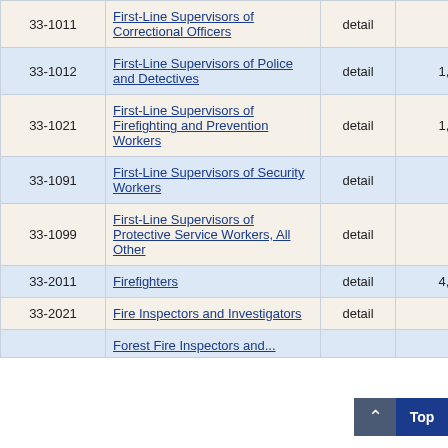| Code | Title | Type | Value1 | Value2 |
| --- | --- | --- | --- | --- |
| 33-1011 | First-Line Supervisors of Correctional Officers | detail | 980 | 0 |
| 33-1012 | First-Line Supervisors of Police and Detectives | detail | 1,320 | 0 |
| 33-1021 | First-Line Supervisors of Firefighting and Prevention Workers | detail | 1,140 | 4 |
| 33-1091 | First-Line Supervisors of Security Workers | detail | 820 | 5 |
| 33-1099 | First-Line Supervisors of Protective Service Workers, All Other | detail | 400 | 11 |
| 33-2011 | Firefighters | detail | 4,310 | 3 |
| 33-2021 | Fire Inspectors and Investigators | detail | 80 | 4 |
|  | Forest Fire Inspectors and... | detail |  |  |